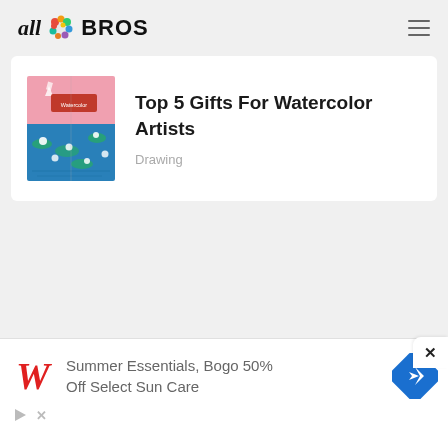all BROS
[Figure (screenshot): Screenshot of allBros website showing a blog post card with thumbnail image for 'Top 5 Gifts For Watercolor Artists' in category Drawing, with an advertisement banner at the bottom for Walgreens 'Summer Essentials, Bogo 50% Off Select Sun Care']
Top 5 Gifts For Watercolor Artists
Drawing
Summer Essentials, Bogo 50% Off Select Sun Care